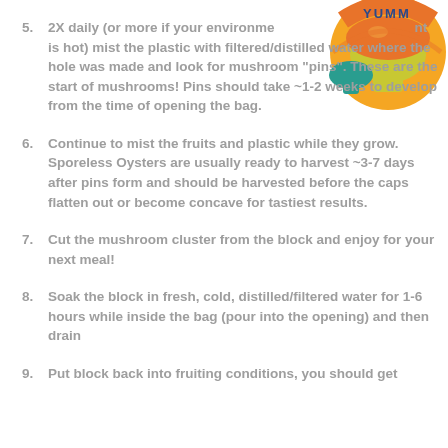[Figure (logo): Colorful mushroom logo with text, circular badge with orange, yellow and teal colors]
5. 2X daily (or more if your environment is hot) mist the plastic with filtered/distilled water where the holes was made and look for mushroom “pins”. These are the start of mushrooms! Pins should take ~1-2 weeks to develop from the time of opening the bag.
6. Continue to mist the fruits and plastic while they grow. Sporeless Oysters are usually ready to harvest ~3-7 days after pins form and should be harvested before the caps flatten out or become concave for tastiest results.
7. Cut the mushroom cluster from the block and enjoy for your next meal!
8. Soak the block in fresh, cold, distilled/filtered water for 1-6 hours while inside the bag (pour into the opening) and then drain
9. Put block back into fruiting conditions, you should get